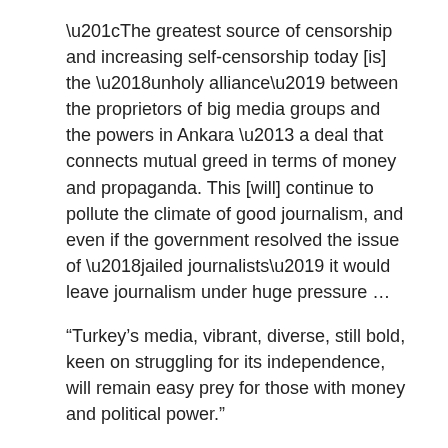“The greatest source of censorship and increasing self-censorship today [is] the ‘unholy alliance’ between the proprietors of big media groups and the powers in Ankara – a deal that connects mutual greed in terms of money and propaganda. This [will] continue to pollute the climate of good journalism, and even if the government resolved the issue of ‘jailed journalists’ it would leave journalism under huge pressure …
“Turkey’s media, vibrant, diverse, still bold, keen on struggling for its independence, will remain easy prey for those with money and political power.”
Nevertheless, the most immediate threat to freedom of expression still comes directly from the government. Ali Özkaya, a lawyer for Prime Minister Recep Tayyip Erdoğan, was quoted in daily Akşam on Oct. 23, and his